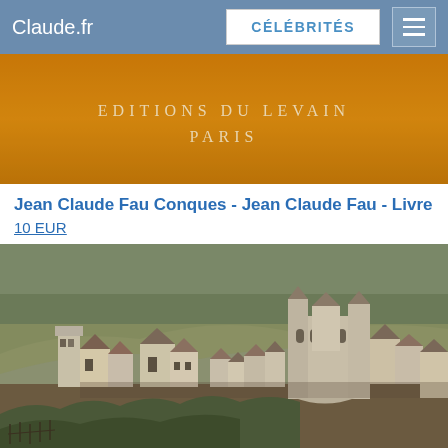Claude.fr | CÉLÉBRITÉS
[Figure (photo): Book cover with orange background showing 'EDITIONS DU LEVAIN PARIS' text in light cream lettering]
Jean Claude Fau Conques - Jean Claude Fau - Livre
10 EUR
[Figure (photo): Aerial/panoramic photograph of Conques medieval village with stone buildings and a Romanesque abbey church visible among hillside terrain]